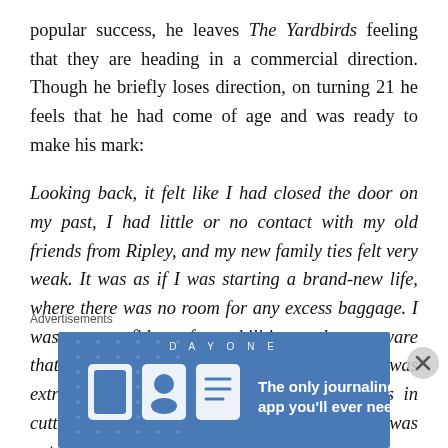popular success, he leaves The Yardbirds feeling that they are heading in a commercial direction. Though he briefly loses direction, on turning 21 he feels that he had come of age and was ready to make his mark:
Looking back, it felt like I had closed the door on my past, I had little or no contact with my old friends from Ripley, and my new family ties felt very weak. It was as if I was starting a brand-new life, where there was no room for any excess baggage. I was very confident of my abilities, and very aware that this was the key to my future. Hence I was extremely protective of my craft, and ruthless in cutting away anything that stood in my path. It was not a path of ambition, I had no desire for fame or recognition. I ju...
Advertisements
[Figure (other): Advertisement banner for Day One journaling app with blue background, app icons, and text: 'The only journaling app you'll ever need.']